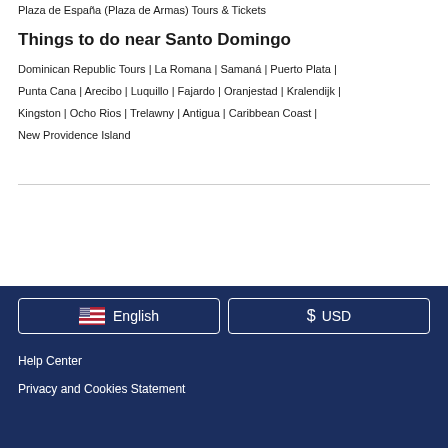Plaza de España (Plaza de Armas) Tours & Tickets
Things to do near Santo Domingo
Dominican Republic Tours | La Romana | Samaná | Puerto Plata | Punta Cana | Arecibo | Luquillo | Fajardo | Oranjestad | Kralendijk | Kingston | Ocho Rios | Trelawny | Antigua | Caribbean Coast | New Providence Island
English  USD  Help Center  Privacy and Cookies Statement